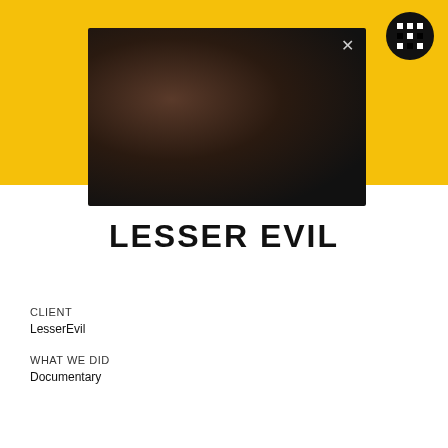[Figure (screenshot): Dark video thumbnail with blurred figures, showing an X close button in top right corner]
LESSER EVIL
CLIENT
LesserEvil
WHAT WE DID
Documentary